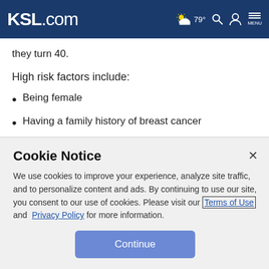KSL.com — 79° weather, search, account, menu
they turn 40.
High risk factors include:
Being female
Having a family history of breast cancer
Carrying the breast cancer gene (BRCA-1 or BRCA-2
Cookie Notice
We use cookies to improve your experience, analyze site traffic, and to personalize content and ads. By continuing to use our site, you consent to our use of cookies. Please visit our Terms of Use and Privacy Policy for more information.
Continue